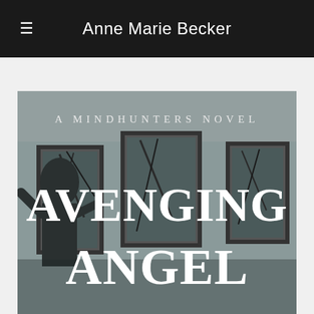Anne Marie Becker
[Figure (illustration): Book cover for 'Avenging Angel', a Mindhunters Novel by Anne Marie Becker. Grayscale image showing a dark interior with framed artwork on walls and a figure. Large white serif text reads 'AVENGING ANGEL' and smaller spaced text at top reads 'A MINDHUNTERS NOVEL'.]